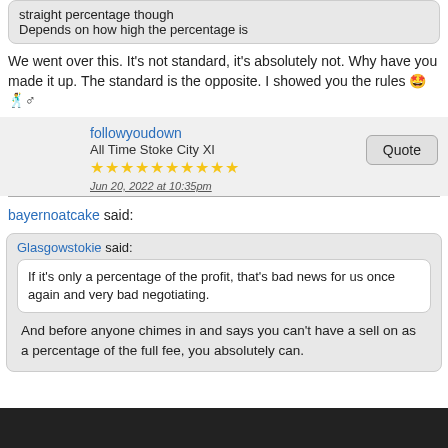straight percentage though
Depends on how high the percentage is
We went over this. It's not standard, it's absolutely not. Why have you made it up. The standard is the opposite. I showed you the rules 🤩🕺♂
followyoudown
All Time Stoke City XI
★★★★★★★★★★
Jun 20, 2022 at 10:35pm
bayernoatcake said:
Glasgowstokie said:
If it's only a percentage of the profit, that's bad news for us once again and very bad negotiating.
And before anyone chimes in and says you can't have a sell on as a percentage of the full fee, you absolutely can.